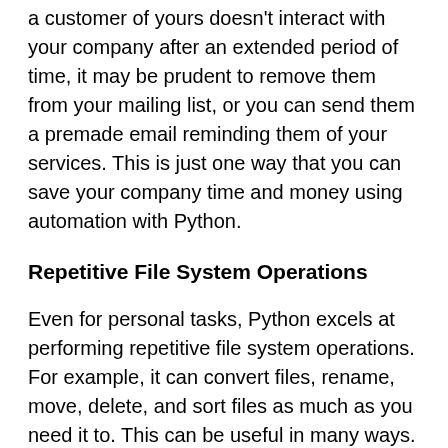a customer of yours doesn't interact with your company after an extended period of time, it may be prudent to remove them from your mailing list, or you can send them a premade email reminding them of your services. This is just one way that you can save your company time and money using automation with Python.
Repetitive File System Operations
Even for personal tasks, Python excels at performing repetitive file system operations. For example, it can convert files, rename, move, delete, and sort files as much as you need it to. This can be useful in many ways. If you have a folder of mp3 files that you need to compress, this can be sped up using Python. Additionally, you can create a set of criteria that